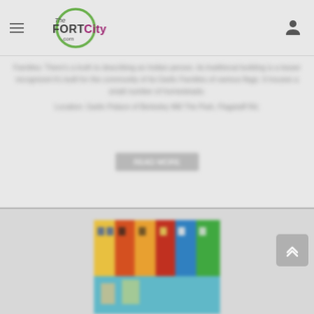The Fort City .com - navigation header with hamburger menu and logo
Blurred body text paragraph - article content not readable
Location / source line - blurred
[Figure (other): Read more button, blurred]
[Figure (photo): Article thumbnail image showing colorful storefronts or market scene, partially visible, blurred]
[Figure (other): Scroll to top button with upward chevron arrows, grey rounded square]